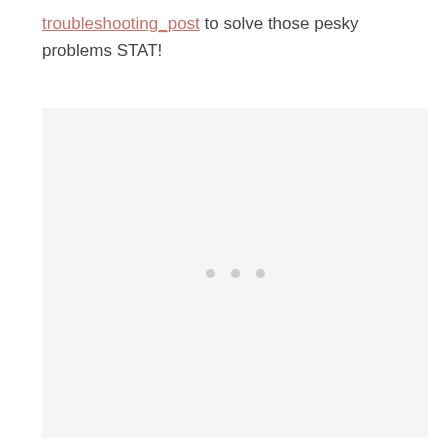troubleshooting_post to solve those pesky problems STAT!
[Figure (other): A light gray placeholder image block with three small gray dots centered in the middle, indicating a loading or empty image state.]